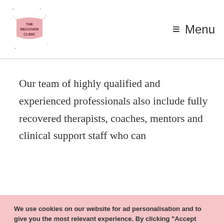The Recover Clinic — Menu
Our team of highly qualified and experienced professionals also include fully recovered therapists, coaches, mentors and clinical support staff who can
We use cookies on our website for ad personalisation and to give you the most relevant experience. By clicking "Accept All", you consent to the use of ALL the cookies. Alternatively, you can click on the "Cookie Settings" buttons for customised options or to withdraw your consent. You can also learn more about how we store, use and process your data in our Privacy Policy.